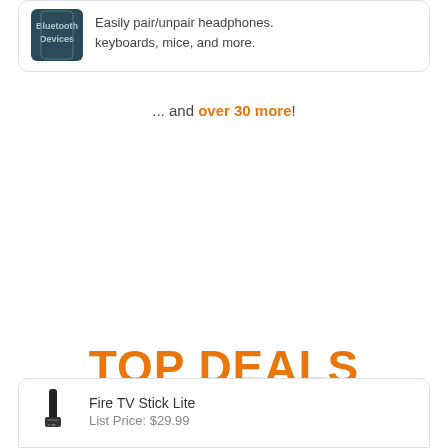[Figure (illustration): Bluetooth Devices app icon — dark teal/blue square with text 'Bluetooth Devices']
Easily pair/unpair headphones. keyboards, mice, and more.
... and over 30 more!
TOP DEALS
[Figure (photo): Fire TV Stick Lite product image — small black remote/stick device]
Fire TV Stick Lite